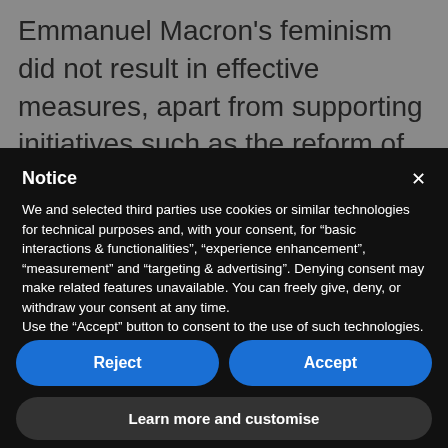Emmanuel Macron's feminism did not result in effective measures, apart from supporting initiatives such as the reform of the penal
Notice
We and selected third parties use cookies or similar technologies for technical purposes and, with your consent, for “basic interactions & functionalities”, “experience enhancement”, “measurement” and “targeting & advertising”. Denying consent may make related features unavailable. You can freely give, deny, or withdraw your consent at any time.
Use the “Accept” button to consent to the use of such technologies. Use the “Reject” button or close this notice to continue without accepting.
Reject
Accept
Learn more and customise